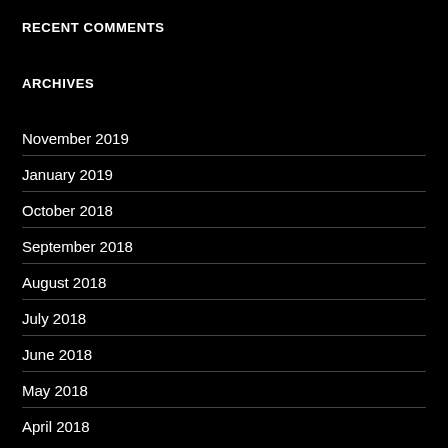RECENT COMMENTS
ARCHIVES
November 2019
January 2019
October 2018
September 2018
August 2018
July 2018
June 2018
May 2018
April 2018